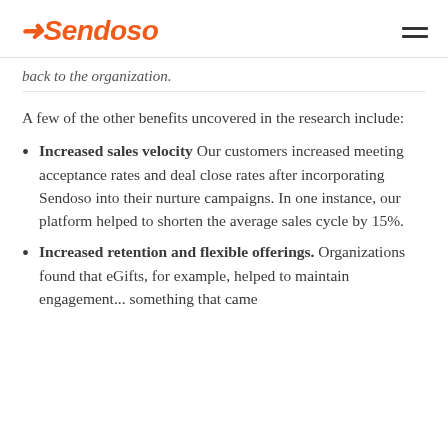Sendoso
back to the organization.
A few of the other benefits uncovered in the research include:
Increased sales velocity Our customers increased meeting acceptance rates and deal close rates after incorporating Sendoso into their nurture campaigns. In one instance, our platform helped to shorten the average sales cycle by 15%.
Increased retention and flexible offerings. Organizations found that eGifts, for example, helped to maintain engagement... something that came...